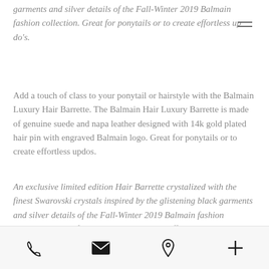garments and silver details of the Fall-Winter 2019 Balmain fashion collection. Great for ponytails or to create effortless up do's.
Add a touch of class to your ponytail or hairstyle with the Balmain Luxury Hair Barrette. The Balmain Hair Luxury Barrette is made of genuine suede and napa leather designed with 14k gold plated hair pin with engraved Balmain logo. Great for ponytails or to create effortless updos.
An exclusive limited edition Hair Barrette crystalized with the finest Swarovski crystals inspired by the glistening black garments and silver details of the Fall-Winter 2019 Balmain fashion collection. Great for ponytails or to create effortless up do's.
Add a touch of class to your ponytail or hairstyle with the Balmain Luxury Hair Barrette. The Balmain Hair Luxury Barrette
Phone, Email, Location, Add icons